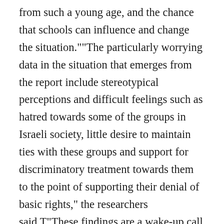from such a young age, and the chance that schools can influence and change the situation.""The particularly worrying data in the situation that emerges from the report include stereotypical perceptions and difficult feelings such as hatred towards some of the groups in Israeli society, little desire to maintain ties with these groups and support for discriminatory treatment towards them to the point of supporting their denial of basic rights," the researchers said.T"These findings are a wake-up call and a call to action for the Israeli education system, which is responsible for building the future of Israeli society," they said. "The serious findings that emerge from the report are intended to stimulate action for all those involved in education – from educators and school principals to the education